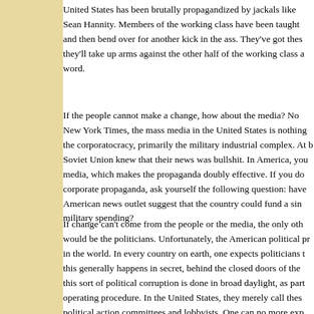United States has been brutally propagandized by jackals like Sean Hannity. Members of the working class have been taught and then bend over for another kick in the ass. They've got thes they'll take up arms against the other half of the working class a word.
If the people cannot make a change, how about the media? No New York Times, the mass media in the United States is nothing the corporatocracy, primarily the military industrial complex. At Soviet Union knew that their news was bullshit. In America, you media, which makes the propaganda doubly effective. If you do corporate propaganda, ask yourself the following question: have American news outlet suggest that the country could fund a sin military spending?
If change can't come from the people or the media, the only oth would be the politicians. Unfortunately, the American political p in the world. In every country on earth, one expects politicians t this generally happens in secret, behind the closed doors of the this sort of political corruption is done in broad daylight, as part operating procedure. In the United States, they merely call thes political action committees and lobbyists. One can no more exp system than one can expect a man to take an axe and chop his him.